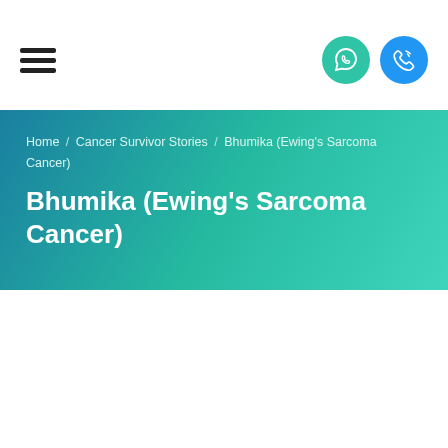Menu | WhatsApp | Phone
Home / Cancer Survivor Stories / Bhumika (Ewing's Sarcoma Cancer)
Bhumika (Ewing's Sarcoma Cancer)